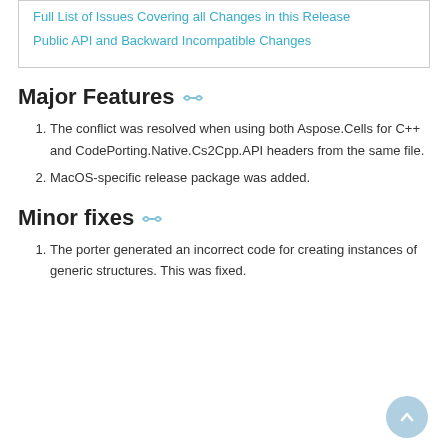Full List of Issues Covering all Changes in this Release
Public API and Backward Incompatible Changes
Major Features
The conflict was resolved when using both Aspose.Cells for C++ and CodePorting.Native.Cs2Cpp.API headers from the same file.
MacOS-specific release package was added.
Minor fixes
The porter generated an incorrect code for creating instances of generic structures. This was fixed.